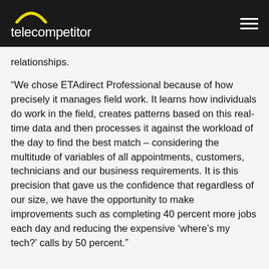telecompetitor
relationships.
“We chose ETAdirect Professional because of how precisely it manages field work. It learns how individuals do work in the field, creates patterns based on this real-time data and then processes it against the workload of the day to find the best match – considering the multitude of variables of all appointments, customers, technicians and our business requirements. It is this precision that gave us the confidence that regardless of our size, we have the opportunity to make improvements such as completing 40 percent more jobs each day and reducing the expensive ‘where’s my tech?’ calls by 50 percent.”